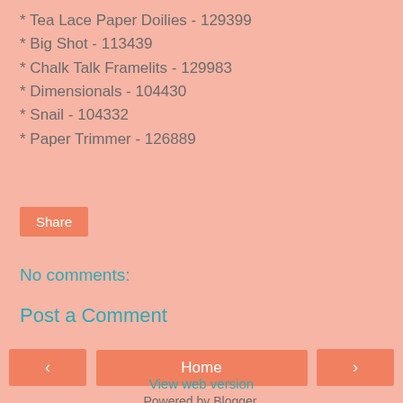* Tea Lace Paper Doilies - 129399
* Big Shot - 113439
* Chalk Talk Framelits - 129983
* Dimensionals - 104430
* Snail - 104332
* Paper Trimmer - 126889
Share
No comments:
Post a Comment
< Home >
View web version
Powered by Blogger.